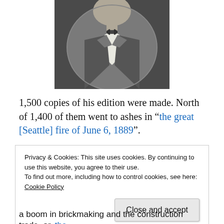[Figure (photo): Black and white oval portrait photograph of a man in a tuxedo with bow tie, showing torso/chest area]
1,500 copies of his edition were made. North of 1,400 of them went to ashes in “the great [Seattle] fire of June 6, 1889”.
Privacy & Cookies: This site uses cookies. By continuing to use this website, you agree to their use.
To find out more, including how to control cookies, see here: Cookie Policy
Close and accept
a boom in brickmaking and the construction trade, or. the